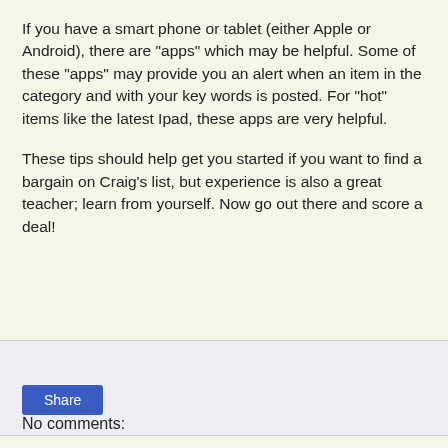If you have a smart phone or tablet (either Apple or Android), there are "apps" which may be helpful.  Some of these "apps" may provide you an alert when an item in the category and with your key words is posted.  For "hot" items like the latest Ipad, these apps are very helpful.
These tips should help get you started if you want to find a bargain on Craig's list, but experience is also a great teacher; learn from yourself.  Now go out there and score a deal!
Share
No comments: